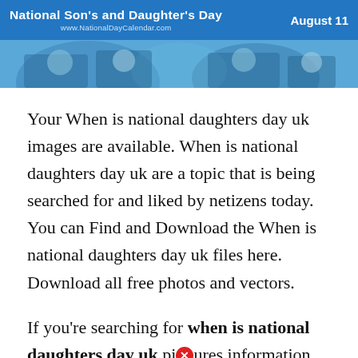[Figure (photo): Banner for National Son's and Daughter's Day with blue background, website URL www.NationalDayCalendar.com, date August 11, and a photo strip showing people]
Your When is national daughters day uk images are available. When is national daughters day uk are a topic that is being searched for and liked by netizens today. You can Find and Download the When is national daughters day uk files here. Download all free photos and vectors.
If you're searching for when is national daughters day uk pictures information